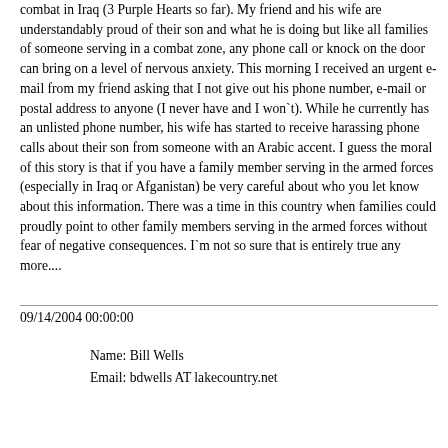combat in Iraq (3 Purple Hearts so far). My friend and his wife are understandably proud of their son and what he is doing but like all families of someone serving in a combat zone, any phone call or knock on the door can bring on a level of nervous anxiety. This morning I received an urgent e-mail from my friend asking that I not give out his phone number, e-mail or postal address to anyone (I never have and I won`t). While he currently has an unlisted phone number, his wife has started to receive harassing phone calls about their son from someone with an Arabic accent. I guess the moral of this story is that if you have a family member serving in the armed forces (especially in Iraq or Afganistan) be very careful about who you let know about this information. There was a time in this country when families could proudly point to other family members serving in the armed forces without fear of negative consequences. I`m not so sure that is entirely true any more....
09/14/2004 00:00:00
Name: Bill Wells
Email: bdwells AT lakecountry.net